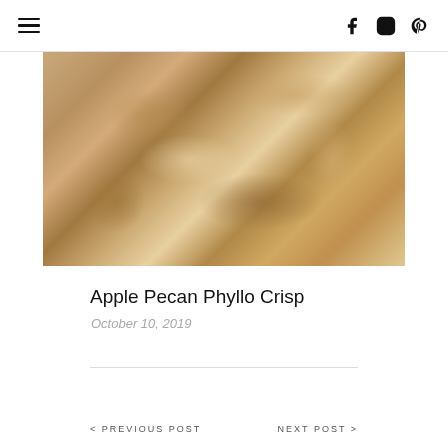≡   f  instagram  pinterest
[Figure (photo): Close-up photo of Apple Pecan Phyllo Crisp — thin crispy phyllo pieces topped with chopped pecans and cinnamon sugar on a white surface]
Apple Pecan Phyllo Crisp
October 10, 2019
< PREVIOUS POST    NEXT POST >